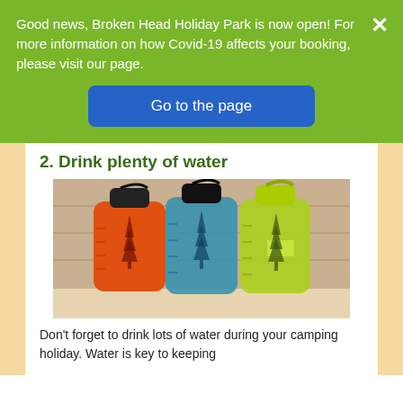Good news, Broken Head Holiday Park is now open! For more information on how Covid-19 affects your booking, please visit our page.
Go to the page
2. Drink plenty of water
[Figure (photo): Three Nalgene water bottles side by side: an orange one on the left, a blue/teal one in the middle, and a yellow-green one on the right, each with tree silhouette graphics, placed on a shelf.]
Don't forget to drink lots of water during your camping holiday. Water is key to keeping